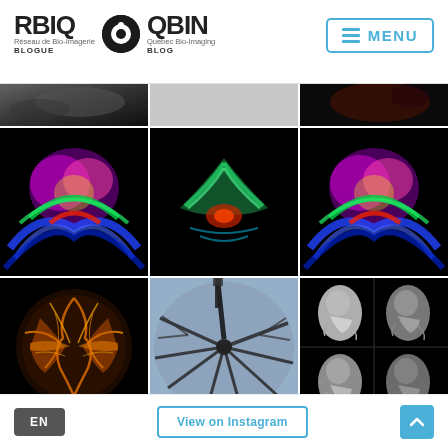[Figure (logo): RBIQ QBIN Blogue Blog logo with circular icon]
[Figure (other): Menu button with hamburger icon and MENU text in blue border]
[Figure (photo): Top partial row of three medical/brain imaging photos]
[Figure (photo): Brain tractography colorful fiber tracts left image]
[Figure (photo): Brain tractography symmetric fiber tracts center image]
[Figure (photo): Brain tractography colorful fiber tracts right image]
[Figure (photo): Brain MRI cross-section with orange vascular overlay]
[Figure (photo): Neuron microscopy showing dark branching dendrites on blue background]
[Figure (photo): Four embryo CT/MRI 3D reconstructions on black background]
EN
View on Instagram